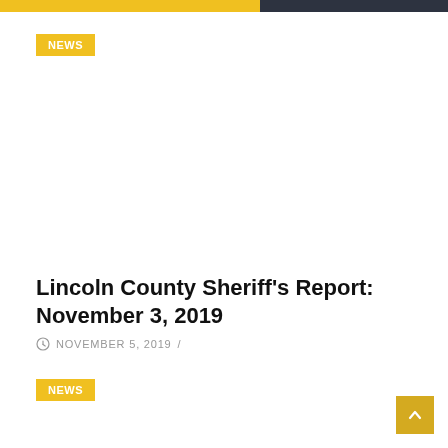NEWS
Lincoln County Sheriff's Report: November 3, 2019
NOVEMBER 5, 2019 /
NEWS